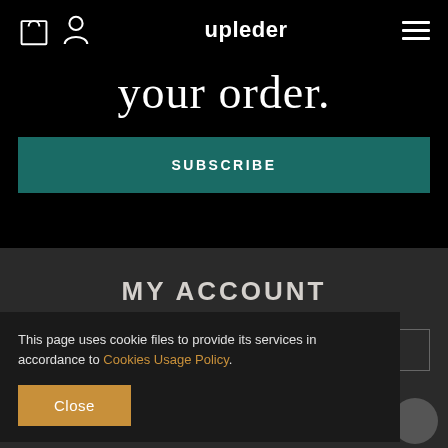upleder
your order.
SUBSCRIBE
MY ACCOUNT
Registration
This page uses cookie files to provide its services in accordance to Cookies Usage Policy.
Close